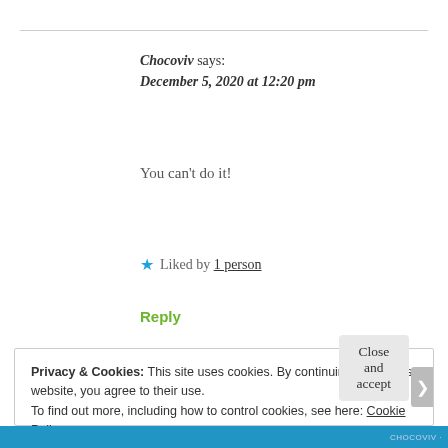Chocoviv says:
December 5, 2020 at 12:20 pm
You can't do it!
★ Liked by 1 person
Reply
Privacy & Cookies: This site uses cookies. By continuing to use this website, you agree to their use.
To find out more, including how to control cookies, see here: Cookie Policy
Close and accept